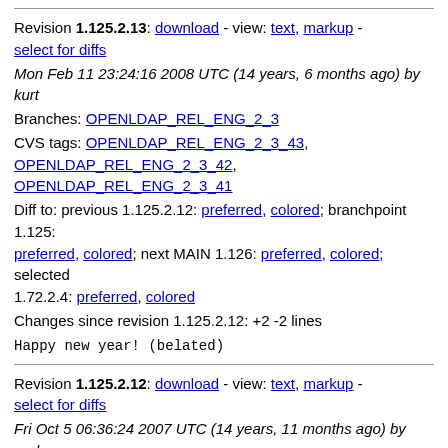Revision 1.125.2.13: download - view: text, markup - select for diffs
Mon Feb 11 23:24:16 2008 UTC (14 years, 6 months ago) by kurt
Branches: OPENLDAP_REL_ENG_2_3
CVS tags: OPENLDAP_REL_ENG_2_3_43, OPENLDAP_REL_ENG_2_3_42, OPENLDAP_REL_ENG_2_3_41
Diff to: previous 1.125.2.12: preferred, colored; branchpoint 1.125: preferred, colored; next MAIN 1.126: preferred, colored; selected 1.72.2.4: preferred, colored
Changes since revision 1.125.2.12: +2 -2 lines
Happy new year! (belated)
Revision 1.125.2.12: download - view: text, markup - select for diffs
Fri Oct 5 06:36:24 2007 UTC (14 years, 11 months ago) by ando
Branches: OPENLDAP_REL_ENG_2_3
CVS tags: OPENLDAP_REL_ENG_2_3_40, OPENLDAP_REL_ENG_2_3_39
Diff to: previous 1.125.2.11: preferred, colored; branchpoint 1.125: preferred, colored; selected 1.72.2.4: preferred, colored
Changes since revision 1.125.2.11: +3 -4 lines
fix previous commit